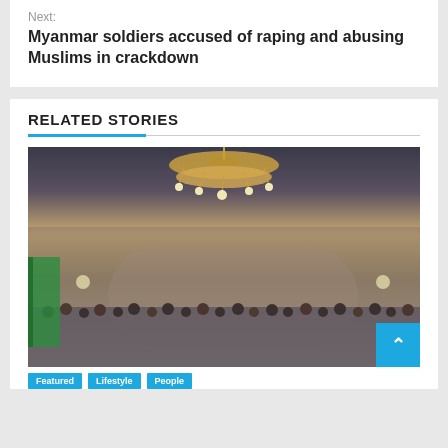Next:
Myanmar soldiers accused of raping and abusing Muslims in crackdown
RELATED STORIES
[Figure (photo): Large group photo of many people (mostly men in suits) gathered in a grand venue with a large ornate chandelier overhead. Green banners visible on the left side.]
Featured   Lifestyle   People